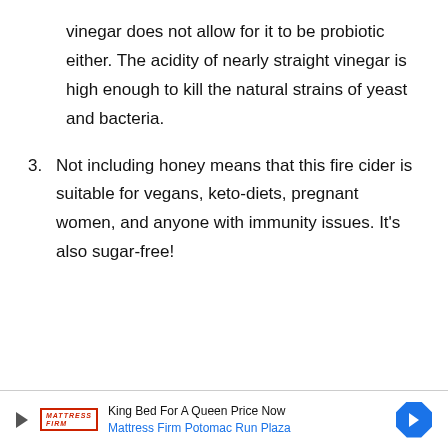vinegar does not allow for it to be probiotic either. The acidity of nearly straight vinegar is high enough to kill the natural strains of yeast and bacteria.
3. Not including honey means that this fire cider is suitable for vegans, keto-diets, pregnant women, and anyone with immunity issues. It's also sugar-free!
[Figure (other): Advertisement banner: Mattress Firm ad reading 'King Bed For A Queen Price Now' with 'Mattress Firm Potomac Run Plaza' link and navigation arrow icon]